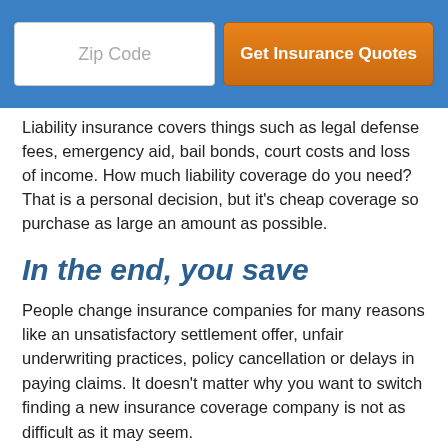[Figure (screenshot): Blue header bar with a white zip code input field and an orange 'Get Insurance Quotes' button]
Liability insurance covers things such as legal defense fees, emergency aid, bail bonds, court costs and loss of income. How much liability coverage do you need? That is a personal decision, but it's cheap coverage so purchase as large an amount as possible.
In the end, you save
People change insurance companies for many reasons like an unsatisfactory settlement offer, unfair underwriting practices, policy cancellation or delays in paying claims. It doesn't matter why you want to switch finding a new insurance coverage company is not as difficult as it may seem.
When buying insurance coverage, you should never buy less coverage just to save a little money. Too many times, an insured dropped full coverage and discovered at claim time that their decision to reduce coverage ended up costing them more. Your